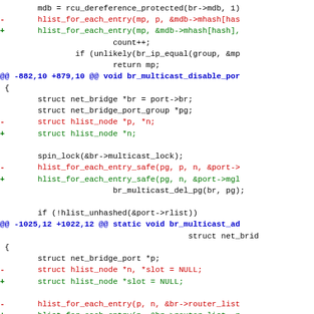[Figure (other): Code diff showing git patch with removed (red) and added (green) lines of C code for bridge multicast functions, with hunk headers in blue]
Code diff for br_multicast functions including br_multicast_disable_port and br_multicast_add, showing removal of hlist_node *p parameter and related iterator changes